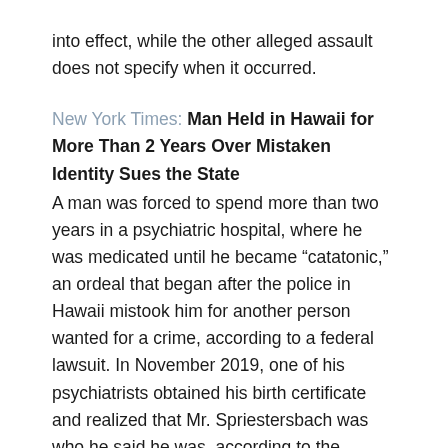into effect, while the other alleged assault does not specify when it occurred.
New York Times: Man Held in Hawaii for More Than 2 Years Over Mistaken Identity Sues the State
A man was forced to spend more than two years in a psychiatric hospital, where he was medicated until he became “catatonic,” an ordeal that began after the police in Hawaii mistook him for another person wanted for a crime, according to a federal lawsuit. In November 2019, one of his psychiatrists obtained his birth certificate and realized that Mr. Spriestersbach was who he said he was, according to the petition filed in August. The hospital released him on Jan. 17, 2020, with